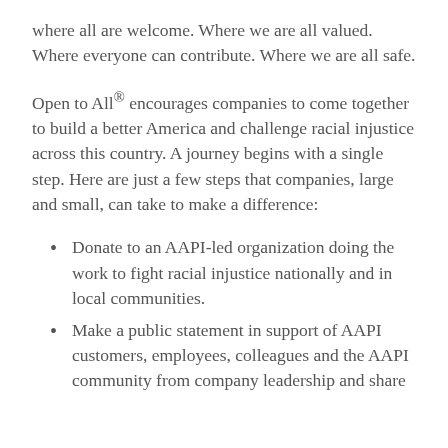where all are welcome. Where we are all valued. Where everyone can contribute. Where we are all safe.
Open to All® encourages companies to come together to build a better America and challenge racial injustice across this country. A journey begins with a single step. Here are just a few steps that companies, large and small, can take to make a difference:
Donate to an AAPI-led organization doing the work to fight racial injustice nationally and in local communities.
Make a public statement in support of AAPI customers, employees, colleagues and the AAPI community from company leadership and share